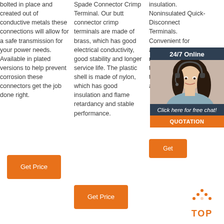bolted in place and created out of conductive metals these connections will allow for a safe transmission for your power needs. Available in plated versions to help prevent corrosion these connectors get the job done right.
Spade Connector Crimp Terminal. Our butt connector crimp terminals are made of brass, which has good electrical conductivity, good stability and longer service life. The plastic shell is made of nylon, which has good insulation and flame retardancy and stable performance.
insulation. Noninsulated Quick-Disconnect Terminals. Convenient for applications that require connection, these terminals slide to connect or pull apart with ease.
[Figure (photo): Customer service representative woman with headset, shown in a 24/7 Online chat support overlay widget with dark blue background, a 'Click here for free chat!' link and orange QUOTATION button.]
Get Price
Get
Get Price
[Figure (logo): Orange 'TOP' navigation button with orange dots arranged in a triangle/arrow shape above the word TOP in orange bold letters.]